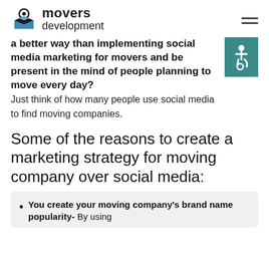movers development
a better way than implementing social media marketing for movers and be present in the mind of people planning to move every day? Just think of how many people use social media to find moving companies.
Some of the reasons to create a marketing strategy for moving company over social media:
You create your moving company's brand name popularity- By using